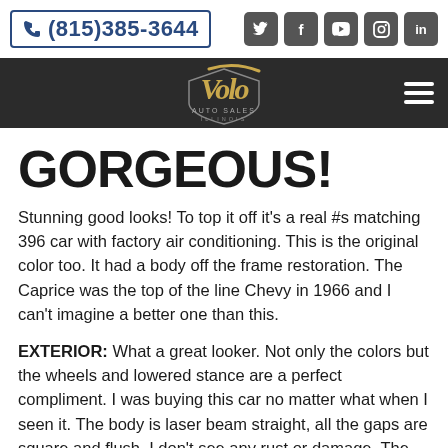(815)385-3644
[Figure (logo): Volo Auto Sales Illinois logo in gold and dark colors]
GORGEOUS!
Stunning good looks! To top it off it's a real #s matching 396 car with factory air conditioning. This is the original color too. It had a body off the frame restoration. The Caprice was the top of the line Chevy in 1966 and I can't imagine a better one than this.
EXTERIOR: What a great looker. Not only the colors but the wheels and lowered stance are a perfect compliment. I was buying this car no matter what when I seen it. The body is laser beam straight, all the gaps are square and flush. I don't see any rust or damage. The metal flake is laid out evenly and the clear coat is polished to a smooth high gloss finish.